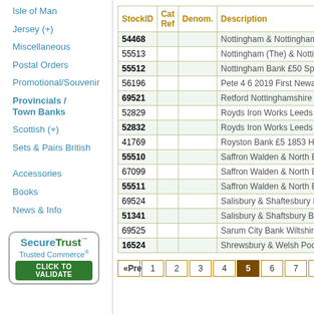Isle of Man
Jersey (+)
Miscellaneous
Postal Orders
Promotional/Souvenir
Provincials / Town Banks
Scottish (+)
Sets & Pairs British
Accessories
Books
News & Info
| StockID | Cat Ref | Denom. | Description |
| --- | --- | --- | --- |
| 54468 |  |  | Nottingham & Nottinghamshire B... |
| 55513 |  |  | Nottingham (The) & Nottinghams... |
| 55512 |  |  | Nottingham Bank £50 Specimen... |
| 56196 |  |  | Pete 4 6 2019 First Newark Bank... |
| 69521 |  |  | Retford Nottinghamshire £1 1807... |
| 52829 |  |  | Royds Iron Works Leeds Yorkshi... |
| 52832 |  |  | Royds Iron Works Leeds Yorkshi... |
| 41769 |  |  | Royston Bank £5 1853 Hertfords... |
| 55510 |  |  | Saffron Walden & North Essex B... |
| 67099 |  |  | Saffron Walden & North Essex b... |
| 55511 |  |  | Saffron Walden & North Essex B... |
| 69524 |  |  | Salisbury & Shaftesbury Bank Sh... |
| 51341 |  |  | Salisbury & Shaftsbury Bank £10... |
| 69525 |  |  | Sarum City Bank Wiltshire £10 1... |
| 16524 |  |  | Shrewsbury & Welsh Pool Bank ... |
«Previous 1 2 3 4 5 6 7 8 Next»